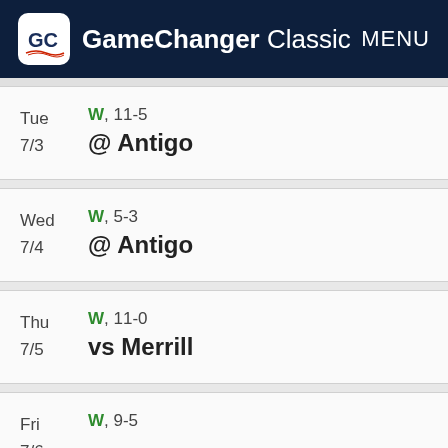GameChanger Classic  MENU
Tue 7/3  W, 11-5  @ Antigo
Wed 7/4  W, 5-3  @ Antigo
Thu 7/5  W, 11-0  vs Merrill
Fri 7/6  W, 9-5